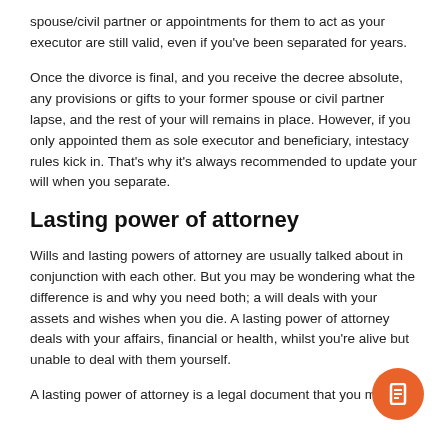spouse/civil partner or appointments for them to act as your executor are still valid, even if you've been separated for years.
Once the divorce is final, and you receive the decree absolute, any provisions or gifts to your former spouse or civil partner lapse, and the rest of your will remains in place. However, if you only appointed them as sole executor and beneficiary, intestacy rules kick in. That's why it's always recommended to update your will when you separate.
Lasting power of attorney
Wills and lasting powers of attorney are usually talked about in conjunction with each other. But you may be wondering what the difference is and why you need both; a will deals with your assets and wishes when you die. A lasting power of attorney deals with your affairs, financial or health, whilst you're alive but unable to deal with them yourself.
A lasting power of attorney is a legal document that you make